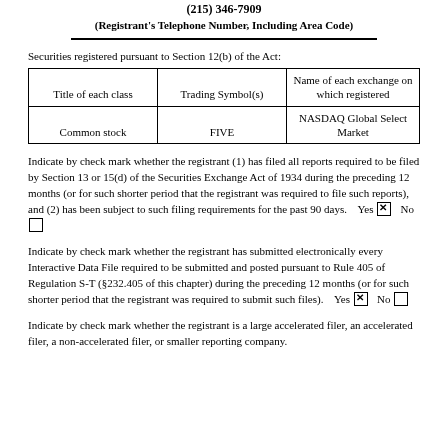(215) 346-7909
(Registrant's Telephone Number, Including Area Code)
Securities registered pursuant to Section 12(b) of the Act:
| Title of each class | Trading Symbol(s) | Name of each exchange on which registered |
| --- | --- | --- |
| Common stock | FIVE | NASDAQ Global Select Market |
Indicate by check mark whether the registrant (1) has filed all reports required to be filed by Section 13 or 15(d) of the Securities Exchange Act of 1934 during the preceding 12 months (or for such shorter period that the registrant was required to file such reports), and (2) has been subject to such filing requirements for the past 90 days.    Yes ☒    No ☐
Indicate by check mark whether the registrant has submitted electronically every Interactive Data File required to be submitted and posted pursuant to Rule 405 of Regulation S-T (§232.405 of this chapter) during the preceding 12 months (or for such shorter period that the registrant was required to submit such files).    Yes ☒    No ☐
Indicate by check mark whether the registrant is a large accelerated filer, an accelerated filer, a non-accelerated filer, or smaller reporting company.